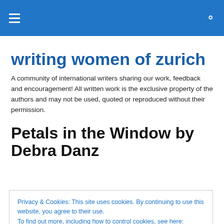writing women of zurich — site navigation header
writing women of zurich
A community of international writers sharing our work, feedback and encouragement! All written work is the exclusive property of the authors and may not be used, quoted or reproduced without their permission.
Petals in the Window by Debra Danz
Privacy & Cookies: This site uses cookies. By continuing to use this website, you agree to their use.
To find out more, including how to control cookies, see here: Cookie Policy
me. They must have stood on my dresser all night long